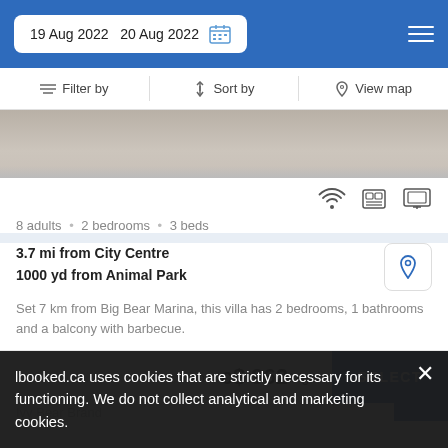19 Aug 2022  20 Aug 2022
Filter by  Sort by  View map
[Figure (photo): Partial image of outdoor sandy/stony ground viewed from above]
8 adults • 2 bedrooms • 3 beds
3.7 mi from City Centre
1000 yd from Animal Park
Set 7 km from Big Bear Marina, this villa has 2 bedrooms, 1 bathrooms and a balcony with barbecue.
from  c$ 962/night
SELECT
lbooked.ca uses cookies that are strictly necessary for its functioning. We do not collect analytical and marketing cookies.